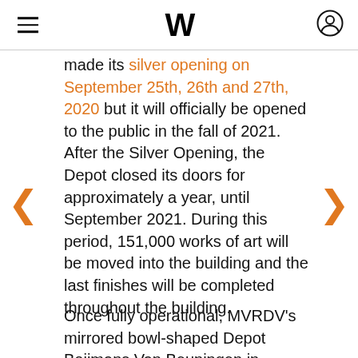W (logo), hamburger menu, user icon
made its silver opening on September 25th, 26th and 27th, 2020 but it will officially be opened to the public in the fall of 2021. After the Silver Opening, the Depot closed its doors for approximately a year, until September 2021. During this period, 151,000 works of art will be moved into the building and the last finishes will be completed throughout the building.
Once fully operational, MVRDV's mirrored bowl-shaped Depot Boijmans Van Beuningen in Rotterdam will be the first publicly accessible art depot in Rotterdam. The key component of design is its mirrored façade panels, thanks to